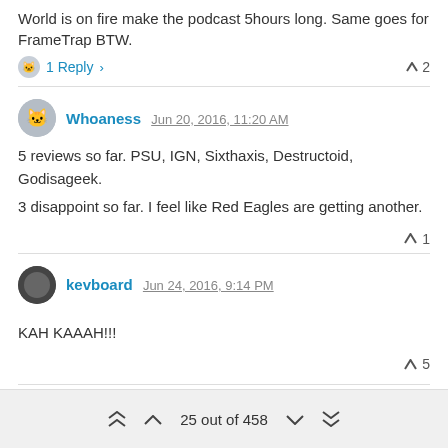World is on fire make the podcast 5hours long. Same goes for FrameTrap BTW.
1 Reply  ▶  ▲ 2
Whoaness  Jun 20, 2016, 11:20 AM
5 reviews so far. PSU, IGN, Sixthaxis, Destructoid, Godisageek.
3 disappoint so far. I feel like Red Eagles are getting another.
▲ 1
kevboard  Jun 24, 2016, 9:14 PM
KAH KAAAH!!!
▲ 5
25 out of 458